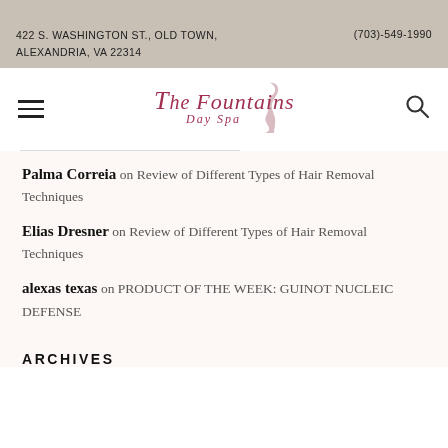422 S. WASHINGTON ST., OLD TOWN, ALEXANDRIA, VA 22314    (703)-549-1990
[Figure (logo): The Fountains Day Spa logo with script text and decorative figure]
Palma Correia on Review of Different Types of Hair Removal Techniques
Elias Dresner on Review of Different Types of Hair Removal Techniques
alexas texas on PRODUCT OF THE WEEK: GUINOT NUCLEIC DEFENSE
ARCHIVES